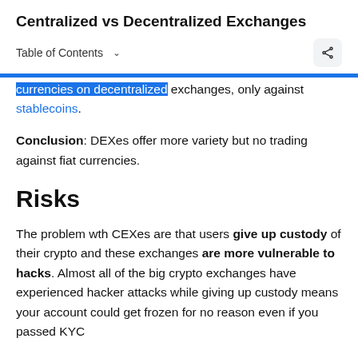Centralized vs Decentralized Exchanges
Table of Contents ∨
currencies on decentralized exchanges, only against stablecoins.
Conclusion: DEXes offer more variety but no trading against fiat currencies.
Risks
The problem wth CEXes are that users give up custody of their crypto and these exchanges are more vulnerable to hacks. Almost all of the big crypto exchanges have experienced hacker attacks while giving up custody means your account could get frozen for no reason even if you passed KYC